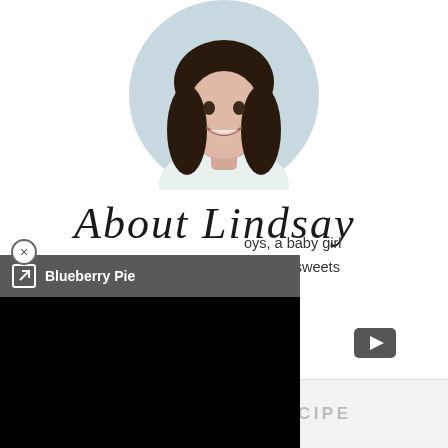[Figure (photo): Circular cropped portrait photo of a smiling young woman with dark brown wavy hair, wearing a floral top, against a light background]
About Lindsay
oys, a baby girl serious sweets e sugar!
[Figure (screenshot): Video player overlay panel with dark gray title bar showing external link icon and 'Blueberry Pie' text, with black video area below]
NEVER MISS A RECIPE